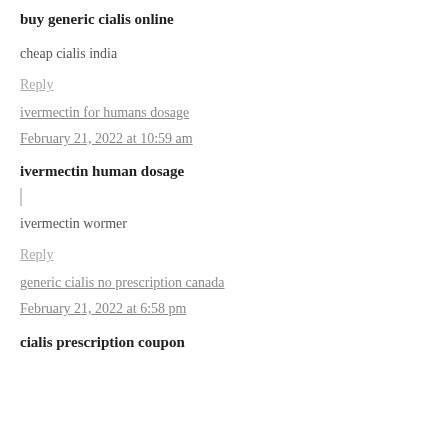buy generic cialis online
cheap cialis india
Reply
ivermectin for humans dosage
February 21, 2022 at 10:59 am
ivermectin human dosage
ivermectin wormer
Reply
generic cialis no prescription canada
February 21, 2022 at 6:58 pm
cialis prescription coupon